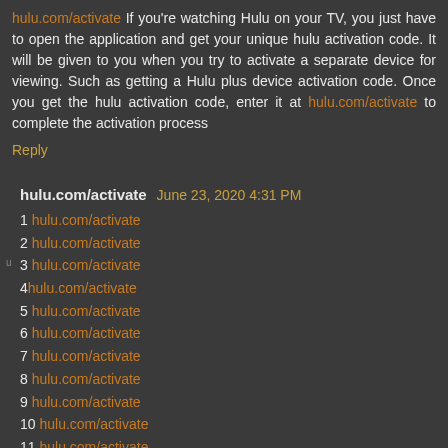hulu.com/activate If you're watching Hulu on your TV, you just have to open the application and get your unique hulu activation code. It will be given to you when you try to activate a separate device for viewing. Such as getting a Hulu plus device activation code. Once you get the hulu activation code, enter it at hulu.com/activate to complete the activation process
Reply
hulu.com/activate June 23, 2020 4:31 PM
1 hulu.com/activate
2 hulu.com/activate
3 hulu.com/activate
4hulu.com/activate
5 hulu.com/activate
6 hulu.com/activate
7 hulu.com/activate
8 hulu.com/activate
9 hulu.com/activate
10 hulu.com/activate
11 hulu.com/activate